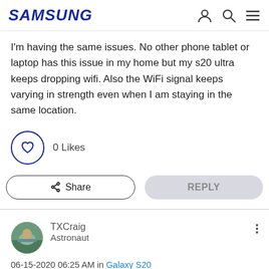SAMSUNG
I'm having the same issues. No other phone tablet or laptop has this issue in my home but my s20 ultra keeps dropping wifi. Also the WiFi signal keeps varying in strength even when I am staying in the same location.
0 Likes
Share   REPLY
TXCraig
Astronaut
06-15-2020 06:25 AM in Galaxy S20